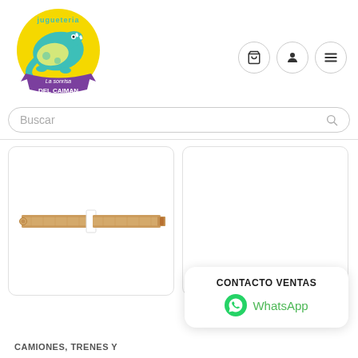[Figure (logo): Jugueteria La Sonrisa del Caiman logo: circular yellow badge with teal crocodile and purple banner]
[Figure (illustration): Three circular nav icon buttons: cart, user/person, hamburger menu]
Buscar
[Figure (photo): Wooden toy train track piece (long straight track with connector), shown on white background]
CONTACTO VENTAS
WhatsApp
CAMIONES, TRENES Y